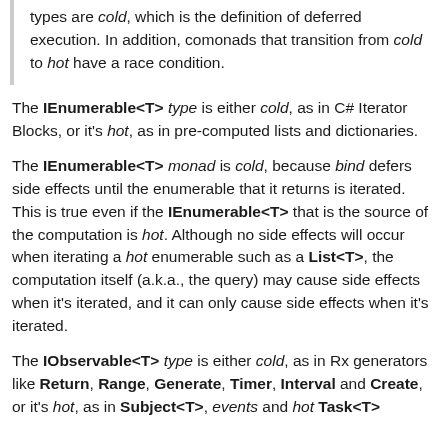types are cold, which is the definition of deferred execution. In addition, comonads that transition from cold to hot have a race condition.
The IEnumerable<T> type is either cold, as in C# Iterator Blocks, or it's hot, as in pre-computed lists and dictionaries.
The IEnumerable<T> monad is cold, because bind defers side effects until the enumerable that it returns is iterated. This is true even if the IEnumerable<T> that is the source of the computation is hot. Although no side effects will occur when iterating a hot enumerable such as a List<T>, the computation itself (a.k.a., the query) may cause side effects when it's iterated, and it can only cause side effects when it's iterated.
The IObservable<T> type is either cold, as in Rx generators like Return, Range, Generate, Timer, Interval and Create, or it's hot, as in Subject<T>, events and hot Task<T>